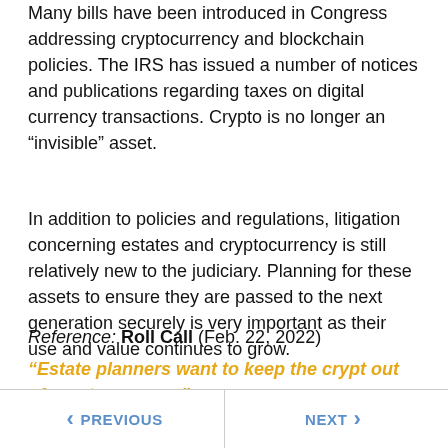Many bills have been introduced in Congress addressing cryptocurrency and blockchain policies. The IRS has issued a number of notices and publications regarding taxes on digital currency transactions. Crypto is no longer an “invisible” asset.
In addition to policies and regulations, litigation concerning estates and cryptocurrency is still relatively new to the judiciary. Planning for these assets to ensure they are passed to the next generation securely is very important as their use and value continues to grow.
Reference: Roll Call (Feb. 22, 2022)
“Estate planners want to keep the crypt out of cryptocurrency”
PREVIOUS | NEXT